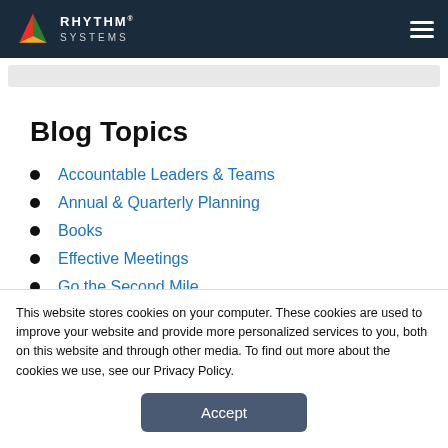Rhythm Systems
Blog Topics
Accountable Leaders & Teams
Annual & Quarterly Planning
Books
Effective Meetings
Go the Second Mile
This website stores cookies on your computer. These cookies are used to improve your website and provide more personalized services to you, both on this website and through other media. To find out more about the cookies we use, see our Privacy Policy.
Accept